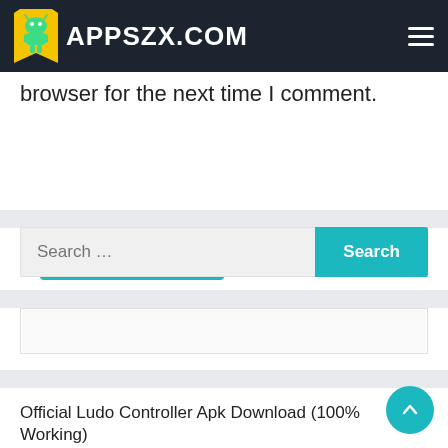APPSZX.COM
browser for the next time I comment.
Post Comment
Search …
Search
Official Ludo Controller Apk Download (100% Working)
Picasso App Download (Latest Version v79) for Android
Ludo Supreme Gold Controller Apk Download 2022